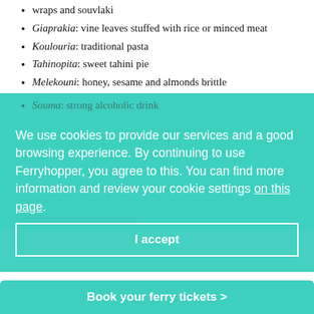wraps and souvlaki
Giaprakia: vine leaves stuffed with rice or minced meat
Koulouria: traditional pasta
Tahinopita: sweet tahini pie
Melekouni: honey, sesame and almonds brittle
Souma: strong alcoholic drink
Cuttlefish ink risotto
Olive oil and wine
We use cookies to provide our services and a good browsing experience. By continuing to use Ferryhopper, you agree to this. You can find more information and review your cookie settings on this page.
I accept
Villages in Rhodes
Rhodes island has more than 40 villages. If you want to experience the traditional lifestyle and discover hidden gems away from the crowds, then
Book your ferry tickets >